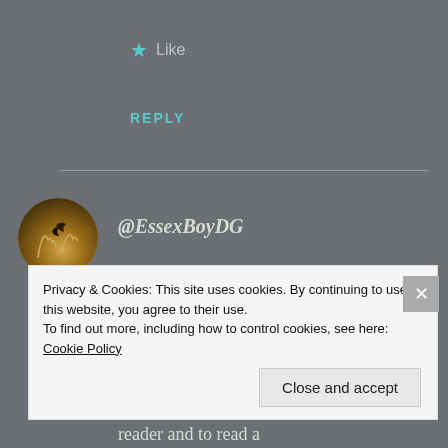★ Like
REPLY
@EssexBoyDG
JANUARY 18, 2016 AT 7:00 PM
I have had the pleasure of befriending Matt whilst on-going in my own life challenges. I will admit I'm not the fastest reader and to read a
Privacy & Cookies: This site uses cookies. By continuing to use this website, you agree to their use.
To find out more, including how to control cookies, see here: Cookie Policy
Close and accept